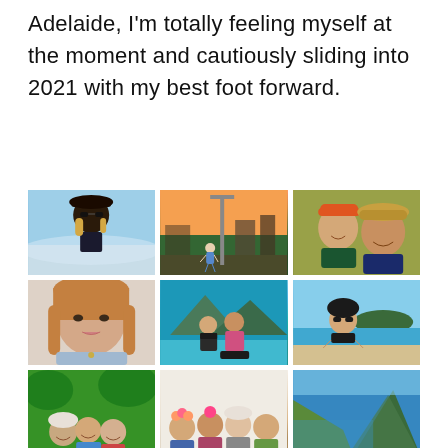Adelaide, I'm totally feeling myself at the moment and cautiously sliding into 2021 with my best foot forward.
[Figure (photo): 3x3 grid of Instagram-style photos featuring a young woman at various outdoor locations including beach, park, tropical areas, and group photos with friends and family.]